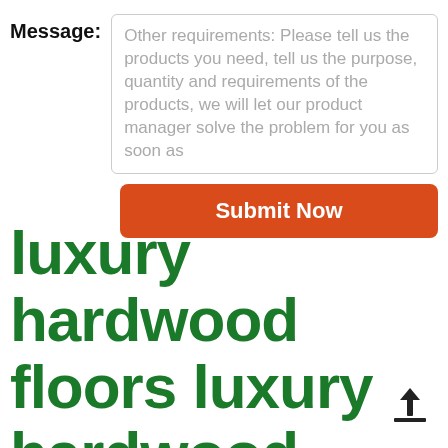Message:
Other requirements: Please tell us the products you need, tell us the purpose, quantity and requirements of the products, we will let our product manager solve the problem for you as soon as
Submit Now
luxury hardwood floors luxury hardwood floors suppliers